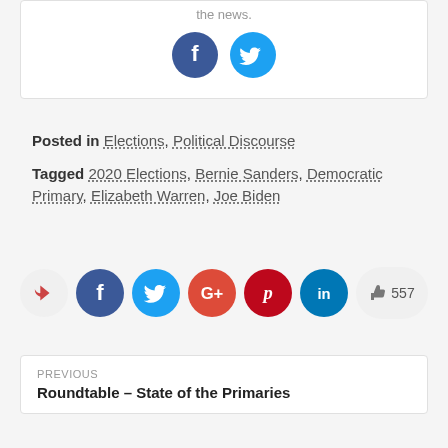the news.
[Figure (illustration): Social share icons: Facebook (dark blue circle) and Twitter (light blue circle)]
Posted in Elections, Political Discourse
Tagged 2020 Elections, Bernie Sanders, Democratic Primary, Elizabeth Warren, Joe Biden
[Figure (illustration): Share buttons row: share arrow (grey), Facebook (dark blue), Twitter (light blue), Google+ (orange-red), Pinterest (dark red), LinkedIn (teal), and a like count button showing thumbs up and 557]
PREVIOUS
Roundtable – State of the Primaries